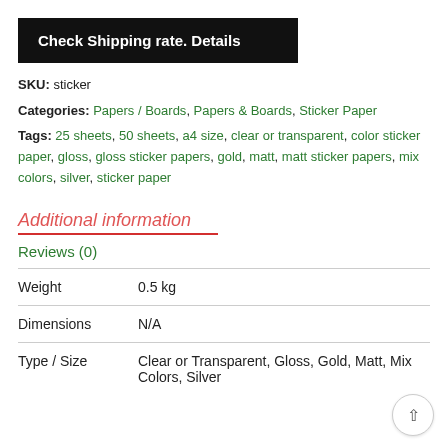[Figure (other): Black button/banner reading 'Check Shipping rate. Details']
SKU: sticker
Categories: Papers / Boards, Papers & Boards, Sticker Paper
Tags: 25 sheets, 50 sheets, a4 size, clear or transparent, color sticker paper, gloss, gloss sticker papers, gold, matt, matt sticker papers, mix colors, silver, sticker paper
Additional information
Reviews (0)
|  |  |
| --- | --- |
| Weight | 0.5 kg |
| Dimensions | N/A |
| Type / Size | Clear or Transparent, Gloss, Gold, Matt, Mix Colors, Silver |